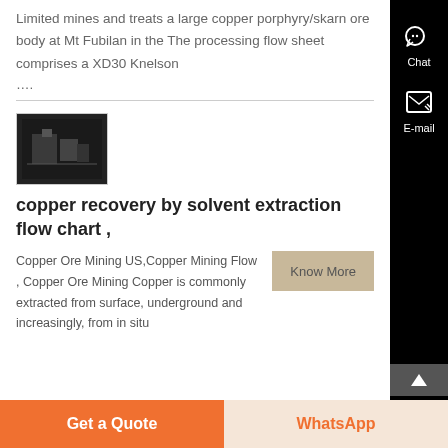Limited mines and treats a large copper porphyry/skarn ore body at Mt Fubilan in the The processing flow sheet comprises a XD30 Knelson ....
[Figure (photo): Small thumbnail image of mining/industrial equipment, dark background]
copper recovery by solvent extraction flow chart ,
Copper Ore Mining US,Copper Mining Flow , Copper Ore Mining Copper is commonly extracted from surface, underground and increasingly, from in situ
Get a Quote
WhatsApp